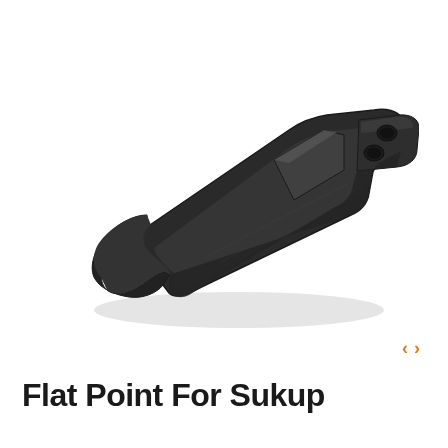[Figure (photo): Black metal flat point tillage tool / cultivator point for Sukup equipment, shown at an angle. The piece is a flat, wedge-shaped metal attachment with mounting holes at the right end and a flat curved blade at the left end.]
Flat Point For Sukup